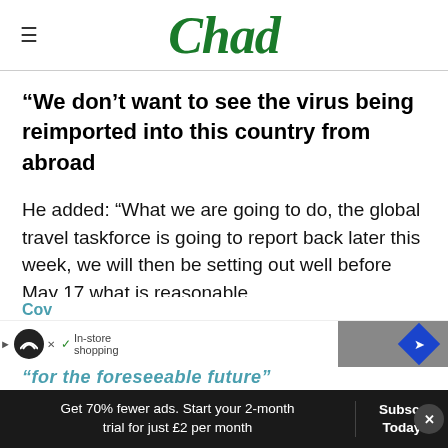Chad
“We don’t want to see the virus being reimported into this country from abroad
He added: “What we are going to do, the global travel taskforce is going to report back later this week, we will then be setting out well before May 17 what is reasonable.
Covid restrictions could remain “for the foreseeable future”
Get 70% fewer ads. Start your 2-month trial for just £2 per month
Subscribe Today